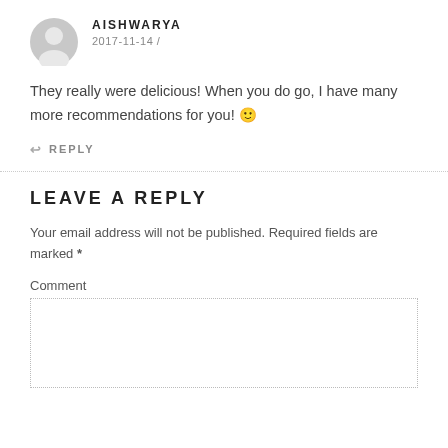[Figure (illustration): Gray circular avatar icon with silhouette of a person]
AISHWARYA
2017-11-14 /
They really were delicious! When you do go, I have many more recommendations for you! 🙂
↩ REPLY
LEAVE A REPLY
Your email address will not be published. Required fields are marked *
Comment